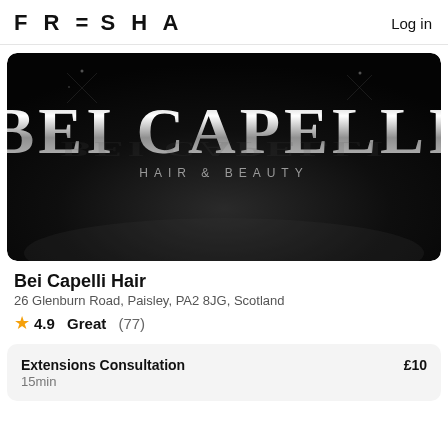FRESHA  Log in
[Figure (logo): Bei Capelli Hair & Beauty salon banner — large silver metallic text 'BEI CAPELLI' with subtitle 'HAIR & BEAUTY' on dark black background with sparkle/star decorative elements and reflection]
Bei Capelli Hair
26 Glenburn Road, Paisley, PA2 8JG, Scotland
⭐ 4.9 Great (77)
| Service | Price |
| --- | --- |
| Extensions Consultation
15min | £10 |